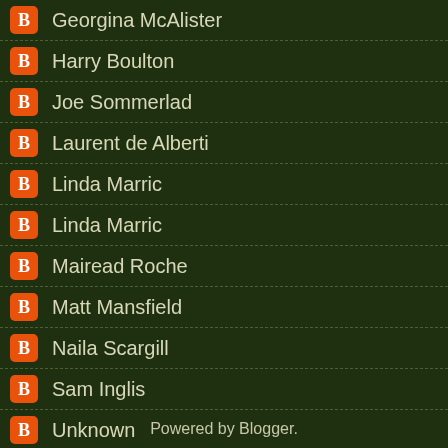Georgina McAlister
Harry Boulton
Joe Sommerlad
Laurent de Alberti
Linda Marric
Linda Marric
Mairead Roche
Matt Mansfield
Naila Scargill
Sam Inglis
Unknown
Unknown
Unknown
Unknown
Powered by Blogger.